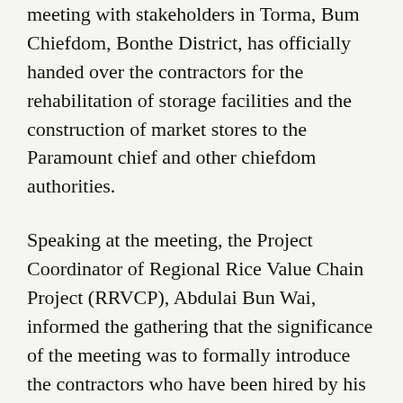meeting with stakeholders in Torma, Bum Chiefdom, Bonthe District, has officially handed over the contractors for the rehabilitation of storage facilities and the construction of market stores to the Paramount chief and other chiefdom authorities.
Speaking at the meeting, the Project Coordinator of Regional Rice Value Chain Project (RRVCP), Abdulai Bun Wai, informed the gathering that the significance of the meeting was to formally introduce the contractors who have been hired by his project management unit to deliver key infrastructural facilities as part of the project mandate.
Mr Wai used the opportunity to update the stakeholders of Tormabum that the Regional Rice Value Chain Project is divided into two broad